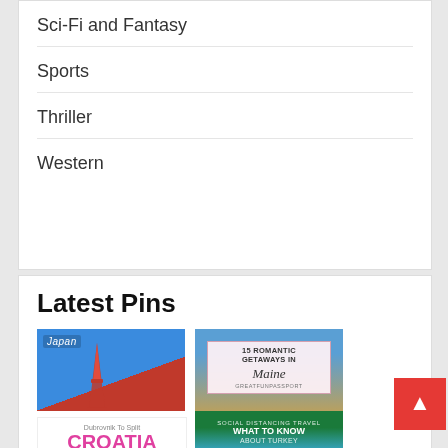Sci-Fi and Fantasy
Sports
Thriller
Western
Latest Pins
[Figure (photo): Japan travel pin showing the Tokyo Tower against a blue sky]
[Figure (photo): 15 Romantic Getaways in Maine pin with coastal cliff image and script text]
[Figure (photo): Croatia travel pin: Dubrovnik to Split with pink CROATIA text]
[Figure (photo): Social Distancing Travel: What to Know About Turkey pin]